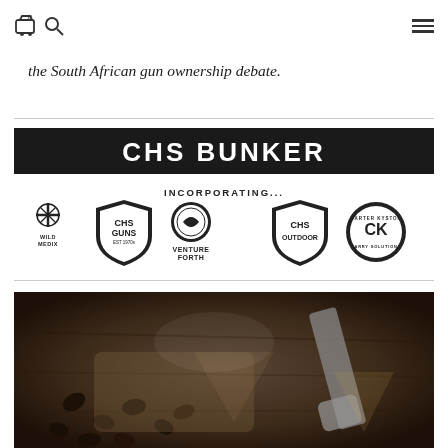Navigation icons: cart, search, menu
the South African gun ownership debate.
[Figure (logo): CHS Bunker banner incorporating: Wild Medix, CHS Guns (Est 1970s), Venture Forth, CHS Outdoor, Carter Kyston Carry Solutions logos]
[Figure (photo): Dark photograph of coffee beans spilling from a burlap sack on a wooden surface]